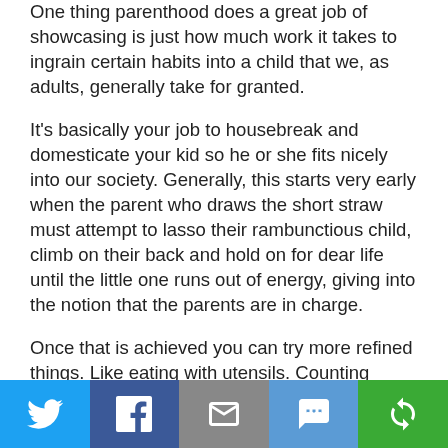One thing parenthood does a great job of showcasing is just how much work it takes to ingrain certain habits into a child that we, as adults, generally take for granted.
It's basically your job to housebreak and domesticate your kid so he or she fits nicely into our society. Generally, this starts very early when the parent who draws the short straw must attempt to lasso their rambunctious child, climb on their back and hold on for dear life until the little one runs out of energy, giving into the notion that the parents are in charge.
Once that is achieved you can try more refined things. Like eating with utensils. Counting using
[Figure (infographic): Social share bar with five buttons: Twitter (blue bird icon), Facebook (dark blue f icon), Email (grey envelope icon), SMS (blue SMS speech bubble icon), Other/share (green circular arrows icon)]